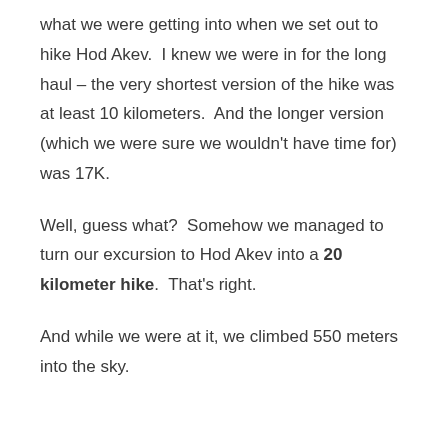what we were getting into when we set out to hike Hod Akev.  I knew we were in for the long haul – the very shortest version of the hike was at least 10 kilometers.  And the longer version (which we were sure we wouldn't have time for) was 17K.
Well, guess what?  Somehow we managed to turn our excursion to Hod Akev into a 20 kilometer hike.  That's right.
And while we were at it, we climbed 550 meters into the sky.